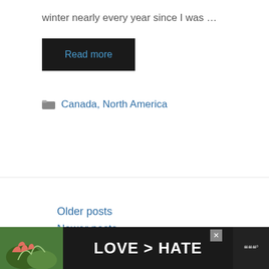winter nearly every year since I was …
Read more
Canada, North America
Older posts
Newer posts
← Previous  1  2  3  4  5
[Figure (photo): Advertisement banner: hands forming a heart shape with text LOVE > HATE on dark background, with a close button and a logo on the right.]